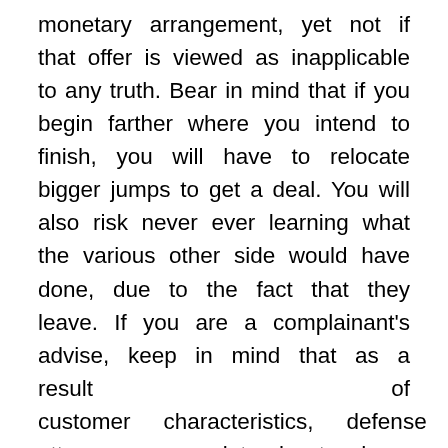monetary arrangement, yet not if that offer is viewed as inapplicable to any truth. Bear in mind that if you begin farther where you intend to finish, you will have to relocate bigger jumps to get a deal. You will also risk never ever learning what the various other side would have done, due to the fact that they leave. If you are a complainant's advise, keep in mind that as a result of customer characteristics, defense attorney never intends to have actually denied a demand, and afterwards done even worse at test. Conversely, a protection advice's simplest day is one in which the plaintiff's last demand is more than what protection advice